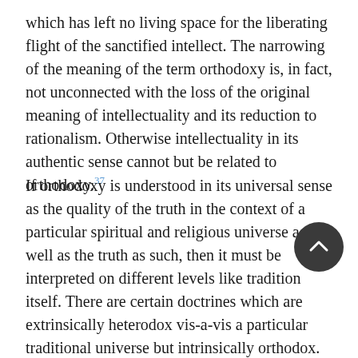which has left no living space for the liberating flight of the sanctified intellect. The narrowing of the meaning of the term orthodoxy is, in fact, not unconnected with the loss of the original meaning of intellectuality and its reduction to rationalism. Otherwise intellectuality in its authentic sense cannot but be related to orthodoxy.37
If orthodoxy is understood in its universal sense as the quality of the truth in the context of a particular spiritual and religious universe as well as the truth as such, then it must be interpreted on different levels like tradition itself. There are certain doctrines which are extrinsically heterodox vis-a-vis a particular traditional universe but intrinsically orthodox. An example would be Christianity as viewed from Judaism and Buddhism from the point of view of Hinduism. Even within a single tradition, a particular